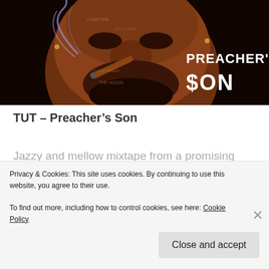[Figure (illustration): Album cover art for TUT - Preacher's Son. Dark background showing a close-up of a face with tattoo-style text overlaid, person smoking a cigar/blunt. Text 'PREACHER'S $ON' displayed on the right side in white graffiti-style font.]
TUT – Preacher's Son
Jazzy and mellow mixtape from a promising young MC.
Listen on YouTube
Privacy & Cookies: This site uses cookies. By continuing to use this website, you agree to their use.
To find out more, including how to control cookies, see here: Cookie Policy
Close and accept